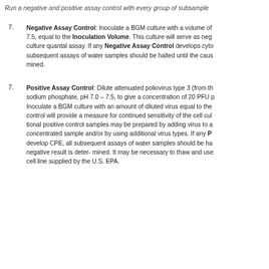Run a negative and positive assay control with every group of subsampl...
Negative Assay Control: Inoculate a BGM culture with a volume of ... 7.5, equal to the Inoculation Volume. This culture will serve as neg... culture quantal assay. If any Negative Assay Control develops cyto... subsequent assays of water samples should be halted until the caus... mined.
Positive Assay Control: Dilute attenuated poliovirus type 3 (from th... sodium phosphate, pH 7.0 – 7.5, to give a concentration of 20 PFU ... Inoculate a BGM culture with an amount of diluted virus equal to the... control will provide a measure for continued sensitivity of the cell cul... tional positive control samples may be prepared by adding virus to a... concentrated sample and/or by using additional virus types. If any P... develop CPE, all subsequent assays of water samples should be ha... negative result is deter- mined. It may be necessary to thaw and use... cell line supplied by the U.S. EPA.